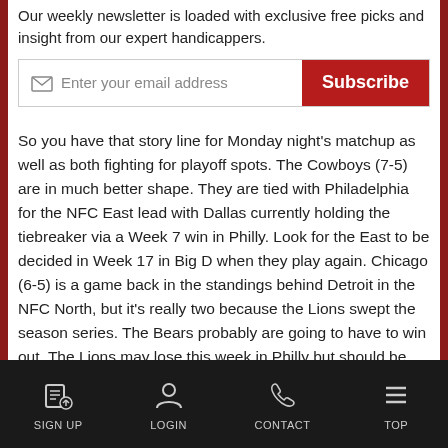Our weekly newsletter is loaded with exclusive free picks and insight from our expert handicappers.
[Figure (other): Email subscription input box with envelope icon placeholder text 'Enter your email address' and a red Subscribe button]
So you have that story line for Monday night's matchup as well as both fighting for playoff spots. The Cowboys (7-5) are in much better shape. They are tied with Philadelphia for the NFC East lead with Dallas currently holding the tiebreaker via a Week 7 win in Philly. Look for the East to be decided in Week 17 in Big D when they play again. Chicago (6-5) is a game back in the standings behind Detroit in the NFC North, but it's really two because the Lions swept the season series. The Bears probably are going to have to win out. The Lions may lose this week in Philly but should be favored the rest of the way: vs. Baltimore (next Monday), vs. the Giants, at Minnesota (final
SIGN UP  LOGIN  CONTACT  TOP